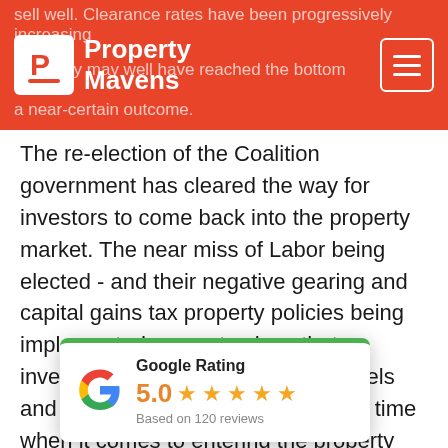Property Mavens
The re-election of the Coalition government has cleared the way for investors to come back into the property market. The near miss of Labor being elected - and their negative gearing and capital gains tax property policies being implemented - goes to show that investors shouldn't rest on their laurels and assume that they can take their time when it comes to entering the property market. The tightening of bank lending policies we've seen in recent years also highlights that inaction can cost opportunity altogether for buyers who are slow to make a a move. As I always say, the best time to buy property is when the bank will lend you the money. And where it's about making a smart investment, it's about finding the right property, in the right location, with the right attributes for growth, at the right
[Figure (other): Google Rating popup showing 5.0 stars based on 120 reviews with Google G logo]